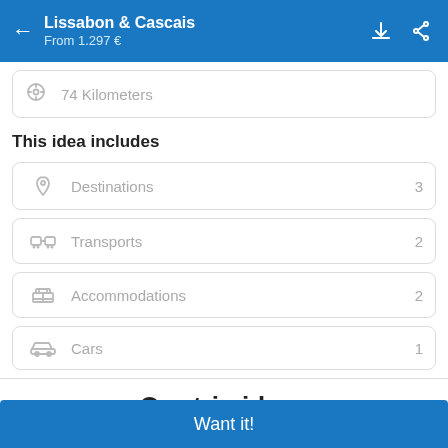Lissabon & Cascais — From 1.297 €
74 Kilometers
This idea includes
Destinations 3
Transports 2
Accommodations 2
Cars 1
Our trip ideas
Want it!